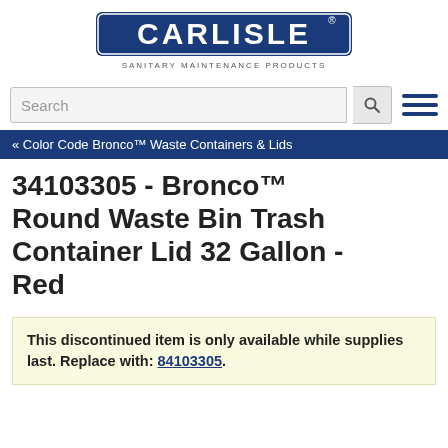[Figure (logo): Carlisle Sanitary Maintenance Products logo — dark blue stylized text 'CARLISLE' with registered trademark, subtitle 'SANITARY MAINTENANCE PRODUCTS']
Search
« Color Code Bronco™ Waste Containers & Lids
34103305 - Bronco™ Round Waste Bin Trash Container Lid 32 Gallon - Red
This discontinued item is only available while supplies last. Replace with: 84103305.